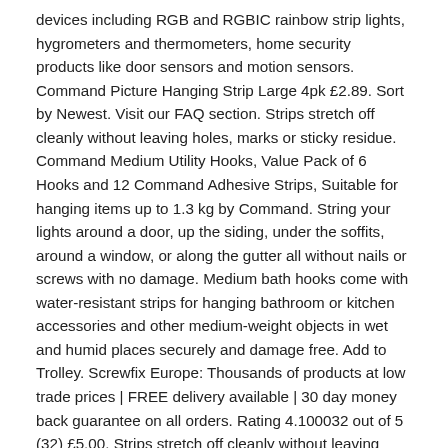devices including RGB and RGBIC rainbow strip lights, hygrometers and thermometers, home security products like door sensors and motion sensors. Command Picture Hanging Strip Large 4pk £2.89. Sort by Newest. Visit our FAQ section. Strips stretch off cleanly without leaving holes, marks or sticky residue. Command Medium Utility Hooks, Value Pack of 6 Hooks and 12 Command Adhesive Strips, Suitable for hanging items up to 1.3 kg by Command. String your lights around a door, up the siding, under the soffits, around a window, or along the gutter all without nails or screws with no damage. Medium bath hooks come with water-resistant strips for hanging bathroom or kitchen accessories and other medium-weight objects in wet and humid places securely and damage free. Add to Trolley. Screwfix Europe: Thousands of products at low trade prices | FREE delivery available | 30 day money back guarantee on all orders. Rating 4.100032 out of 5 (32) £5.00. Strips stretch off cleanly without leaving holes, marks or sticky residue. Strips stretch off cleanly without leaving holes, marks or sticky residue. Have additional questions? Filter. Compare.